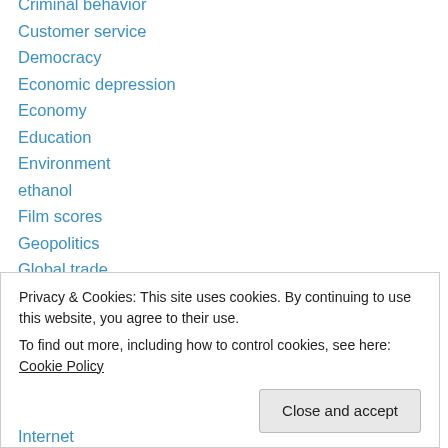Criminal behavior
Customer service
Democracy
Economic depression
Economy
Education
Environment
ethanol
Film scores
Geopolitics
Global trade
Globalization
Government
Health
Privacy & Cookies: This site uses cookies. By continuing to use this website, you agree to their use. To find out more, including how to control cookies, see here: Cookie Policy
Internet